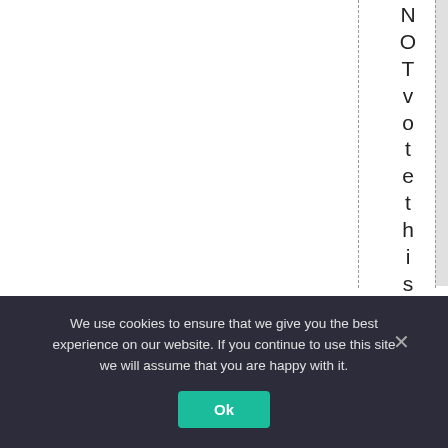[Figure (other): Document layout with vertical dashed lines, a gray shaded column, and vertical rotated text reading 'NOT vote this governm' displayed letter by letter top to bottom on the right side]
We use cookies to ensure that we give you the best experience on our website. If you continue to use this site we will assume that you are happy with it.
Ok